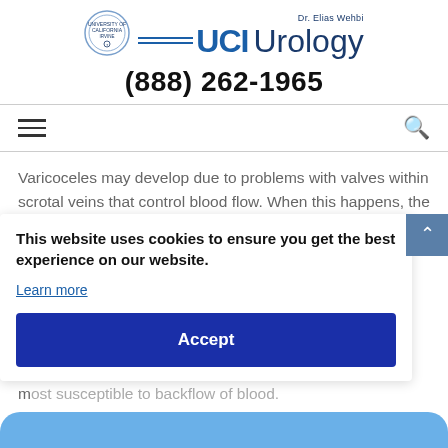[Figure (logo): UCI Urology logo with UC Irvine seal and Dr. Elias Wehbi name]
(888) 262-1965
Varicoceles may develop due to problems with valves within scrotal veins that control blood flow. When this happens, the resulting backup causes veins in the scrotum to become larger or swollen. While either side of the scrotum can be affected, varicoceles tend to develop on the left because the left testicular vein inserts into the left renal vein in a 90-degree configuration and therefore most susceptible to backflow of blood.
This website uses cookies to ensure you get the best experience on our website.
Learn more
Accept